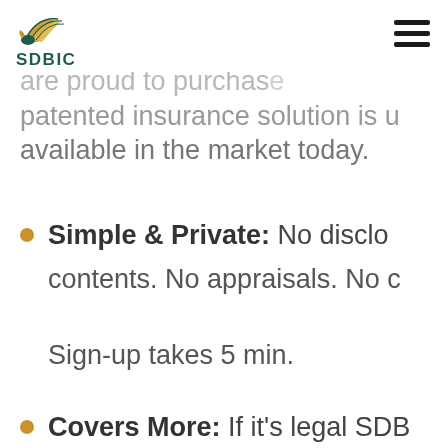SDBIC
…are proud to purchase patented insurance solution is unique, available in the market today.
Simple & Private: No disclo… contents. No appraisals. No … Sign-up takes 5 min.
Covers More: If it's legal SD…